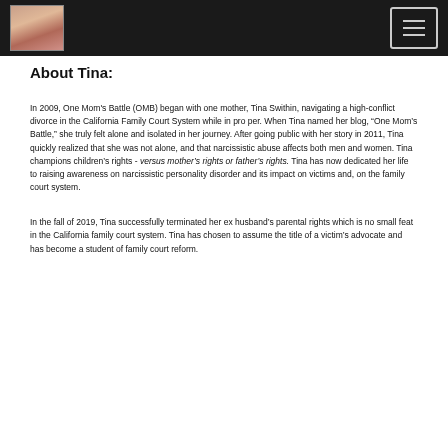[Navigation bar with logo and menu button]
About Tina:
In 2009, One Mom's Battle (OMB) began with one mother, Tina Swithin, navigating a high-conflict divorce in the California Family Court System while in pro per. When Tina named her blog, “One Mom’s Battle,” she truly felt alone and isolated in her journey. After going public with her story in 2011, Tina quickly realized that she was not alone, and that narcissistic abuse affects both men and women. Tina champions children's rights - versus mother’s rights or father’s rights. Tina has now dedicated her life to raising awareness on narcissistic personality disorder and its impact on victims and, on the family court system.
In the fall of 2019, Tina successfully terminated her ex husband’s parental rights which is no small feat in the California family court system. Tina has chosen to assume the title of a victim’s advocate and has become a student of family court reform.